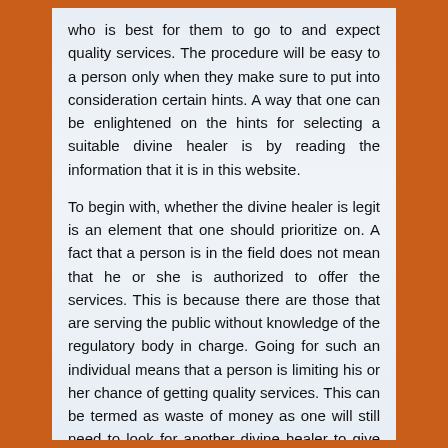who is best for them to go to and expect quality services. The procedure will be easy to a person only when they make sure to put into consideration certain hints. A way that one can be enlightened on the hints for selecting a suitable divine healer is by reading the information that it is in this website.

To begin with, whether the divine healer is legit is an element that one should prioritize on. A fact that a person is in the field does not mean that he or she is authorized to offer the services. This is because there are those that are serving the public without knowledge of the regulatory body in charge. Going for such an individual means that a person is limiting his or her chance of getting quality services. This can be termed as waste of money as one will still need to look for another divine healer to give them quality services to meet their needs. This, however, can be avoided by making sure that the expert has the documents that allow him or her to service the public. A way in which a person can prove that the papers presented to them are legit is by making a point of visiting the page of the authorities. One should proceed to hire the expert only when he or she has been listed.

From the list of divine healers in the authority's website,